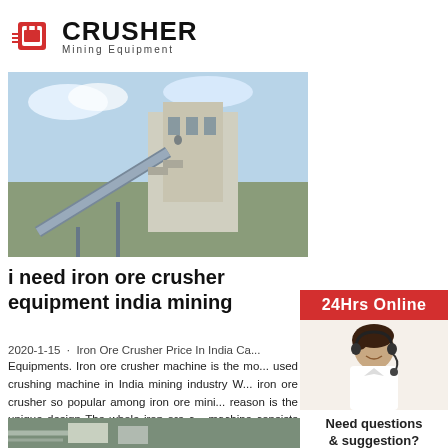CRUSHER Mining Equipment
[Figure (photo): Industrial crusher/screening plant equipment with conveyor belts and large structure, blue sky background]
i need iron ore crusher equipment india mining
2020-1-15 · Iron Ore Crusher Price In India Ca... Equipments. Iron ore crusher machine is the mo... used crushing machine in India mining industry W... iron ore crusher so popular among iron ore mini... reason is the unique design The whole iron ore c... machine consists iron ore crushing and screenin... Obviously it will need the related crushing mach...
Read More
[Figure (photo): Industrial mining equipment/machinery in forested hillside setting]
[Figure (photo): Customer service representative woman with headset smiling - 24Hrs Online sidebar]
24Hrs Online
Need questions & suggestion?
Chat Now
Enquiry
limingjlmofen@sina.com